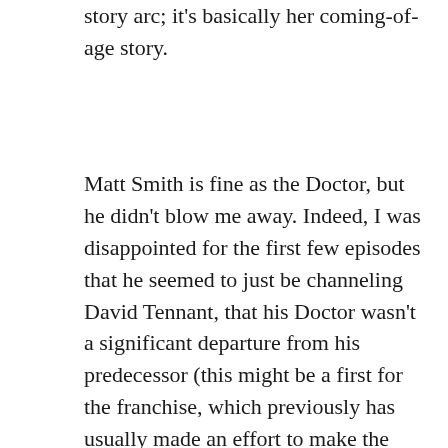story arc; it's basically her coming-of-age story.
Matt Smith is fine as the Doctor, but he didn't blow me away. Indeed, I was disappointed for the first few episodes that he seemed to just be channeling David Tennant, that his Doctor wasn't a significant departure from his predecessor (this might be a first for the franchise, which previously has usually made an effort to make the break between Doctors clear and even extreme). At times it seemed like he was Tennant's Doctor in Peter Davison's body wearing Patrick Troughton's clothing. Fortunately, he grew on me as time went on, but I'm still hard-pressed to say how